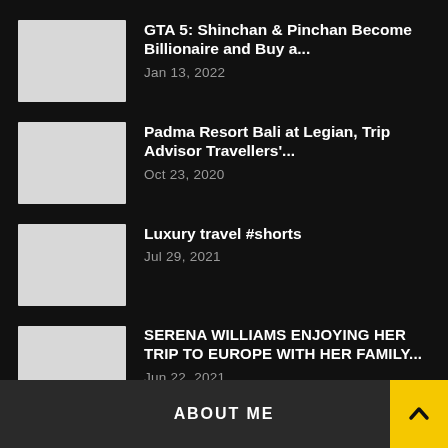GTA 5: Shinchan & Pinchan Become Billionaire and Buy a...
Jan 13, 2022
Padma Resort Bali at Legian, Trip Advisor Travellers'...
Oct 23, 2020
Luxury travel #shorts
Jul 29, 2021
SERENA WILLIAMS ENJOYING HER TRIP TO EUROPE WITH HER FAMILY...
Jun 22, 2021
ABOUT ME